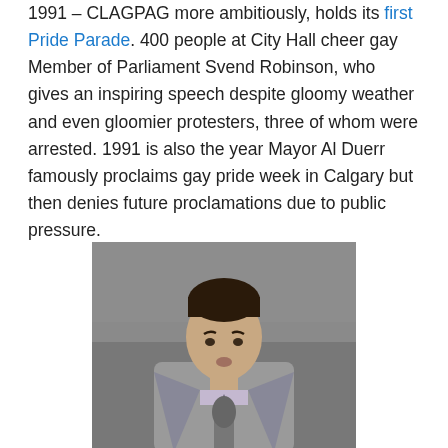1991 – CLAGPAG more ambitiously, holds its first Pride Parade. 400 people at City Hall cheer gay Member of Parliament Svend Robinson, who gives an inspiring speech despite gloomy weather and even gloomier protesters, three of whom were arrested. 1991 is also the year Mayor Al Duerr famously proclaims gay pride week in Calgary but then denies future proclamations due to public pressure.
[Figure (photo): A man in a grey suit and tie speaking at a microphone, appearing to be giving a speech outdoors.]